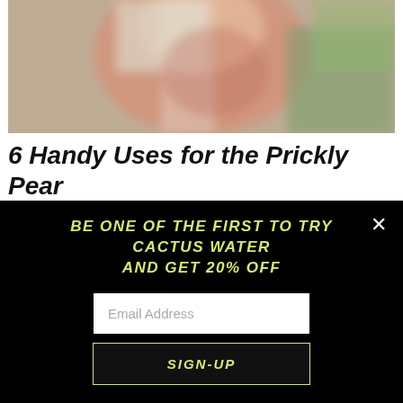[Figure (photo): Blurred close-up image of a person's face and upper body, with green foliage visible in the background]
6 Handy Uses for the Prickly Pear
More than just a pot plant… One of the most diversely utilised plants in the cacti family; say hello to the Prickly Pear Cactus
READ MORE
BE ONE OF THE FIRST TO TRY CACTUS WATER AND GET 20% OFF
Email Address
SIGN-UP